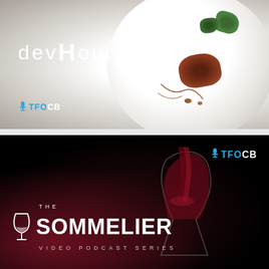[Figure (illustration): DevHour branded image with food photography. Shows a gourmet dish on a white plate with meat, garnishes and sauce drizzle. 'devHour' logo in white text with TV icon, and 'TFOCB' branding in cyan/white at bottom left. Background is light grey.]
[Figure (illustration): The Sommelier Video Podcast Series branded image. Dark background with red wine being poured into a glass. 'THE SOMMELIER VIDEO PODCAST SERIES' logo in white at bottom left with wine glass icon. 'TFOCB' branding with microphone icon in cyan/white at top right.]